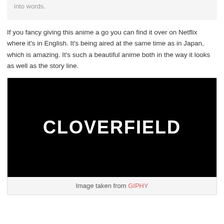into words.
If you fancy giving this anime a go you can find it over on Netflix where it's in English. It's being aired at the same time as in Japan, which is amazing. It's such a beautiful anime both in the way it looks as well as the story line.
[Figure (screenshot): Black background image with the word CLOVERFIELD in large white condensed uppercase text]
Image taken from GIPHY